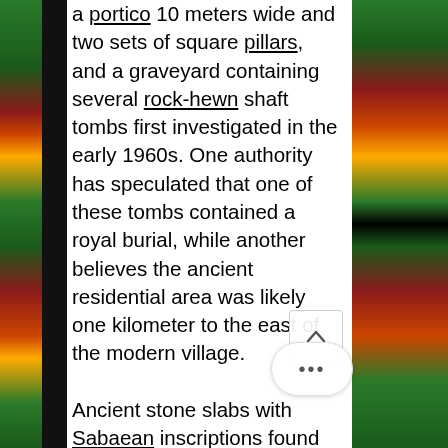a portico 10 meters wide and two sets of square pillars, and a graveyard containing several rock-hewn shaft tombs first investigated in the early 1960s. One authority has speculated that one of these tombs contained a royal burial, while another believes the ancient residential area was likely one kilometer to the east of the modern village.

Ancient stone slabs with Sabaean inscriptions found at Yeha.
Additionally, Yeha is the location of an Ethiopian Orthodox Tewahedo Church monastery. The edifice was founded according to tradition by Abba Aftse, one of the Nine Saints. In his account of Ethiopia, Francisco Álvares mentions visiting this town in 1520 (which he called "Abbafacom").
[Figure (photo): Decorative textile border on left and right sides of the page with colorful geometric patterns in green, red, orange, yellow on a dark background.]